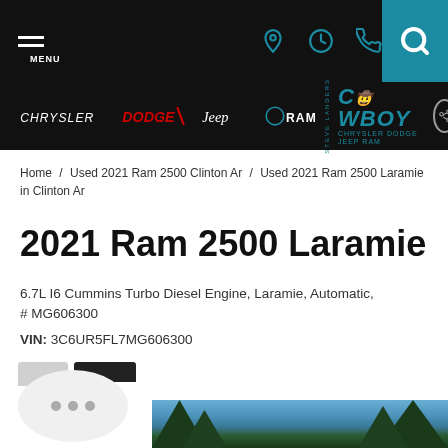MENU [navigation bar with location, hours, phone, search icons and Cowboy Chrysler Dodge Jeep Ram logo]
Home / Used 2021 Ram 2500 Clinton Ar / Used 2021 Ram 2500 Laramie in Clinton Ar
2021 Ram 2500 Laramie
6.7L I6 Cummins Turbo Diesel Engine, Laramie, Automatic, # MG606300
VIN: 3C6UR5FL7MG606300
[Figure (photo): Outdoor photo showing trees against a blue sky, bottom of vehicle listing page]